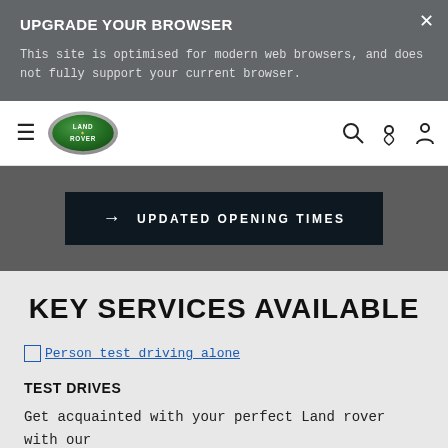UPGRADE YOUR BROWSER
This site is optimised for modern web browsers, and does not fully support your current browser.
[Figure (logo): Land Rover oval green logo with chrome border]
[Figure (infographic): Dark button with right arrow and text: UPDATED OPENING TIMES]
KEY SERVICES AVAILABLE
[Figure (photo): Broken image: Person test driving alone]
TEST DRIVES
Get acquainted with your perfect Land rover with our